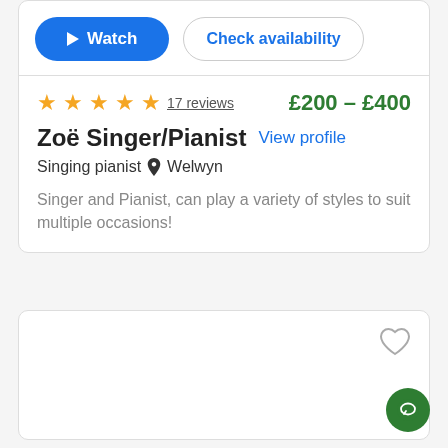[Figure (screenshot): Watch button (blue pill) and Check availability button (outlined pill)]
★★★★★ 17 reviews   £200 – £400
Zoë Singer/Pianist
View profile
Singing pianist  📍 Welwyn
Singer and Pianist, can play a variety of styles to suit multiple occasions!
[Figure (other): Second listing card with heart/favorite icon, partially visible below]